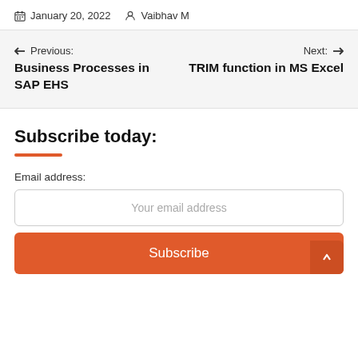January 20, 2022  Vaibhav M
← Previous:
Business Processes in SAP EHS
Next: →
TRIM function in MS Excel
Subscribe today:
Email address:
Your email address
Subscribe